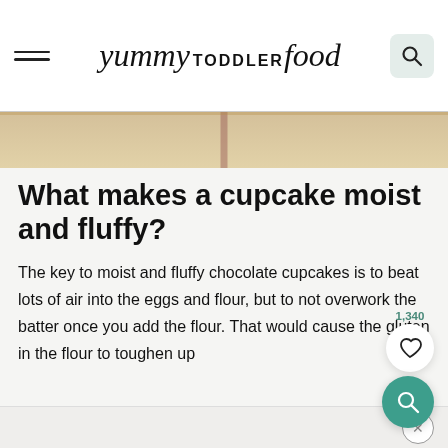yummy TODDLER food
[Figure (photo): Partial photo of baking/kitchen scene, horizontal strip showing wooden surface with vertical divider]
What makes a cupcake moist and fluffy?
The key to moist and fluffy chocolate cupcakes is to beat lots of air into the eggs and flour, but to not overwork the batter once you add the flour. That would cause the gluten in the flour to toughen up